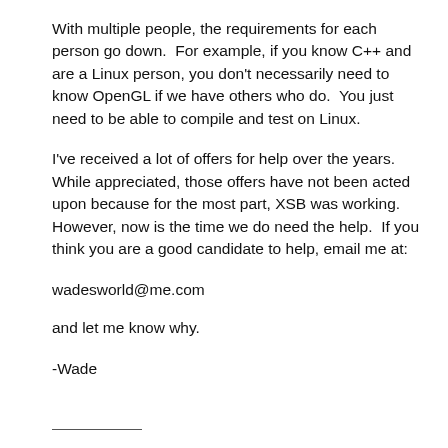With multiple people, the requirements for each person go down.  For example, if you know C++ and are a Linux person, you don't necessarily need to know OpenGL if we have others who do.  You just need to be able to compile and test on Linux.
I've received a lot of offers for help over the years.  While appreciated, those offers have not been acted upon because for the most part, XSB was working.  However, now is the time we do need the help.  If you think you are a good candidate to help, email me at:
wadesworld@me.com
and let me know why.
-Wade